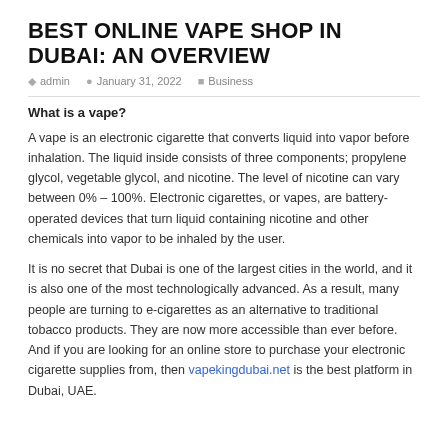BEST ONLINE VAPE SHOP IN DUBAI: AN OVERVIEW
admin   January 31, 2022   Business
What is a vape?
A vape is an electronic cigarette that converts liquid into vapor before inhalation. The liquid inside consists of three components; propylene glycol, vegetable glycol, and nicotine. The level of nicotine can vary between 0% – 100%. Electronic cigarettes, or vapes, are battery-operated devices that turn liquid containing nicotine and other chemicals into vapor to be inhaled by the user.
It is no secret that Dubai is one of the largest cities in the world, and it is also one of the most technologically advanced. As a result, many people are turning to e-cigarettes as an alternative to traditional tobacco products. They are now more accessible than ever before. And if you are looking for an online store to purchase your electronic cigarette supplies from, then vapekingdubai.net is the best platform in Dubai, UAE.